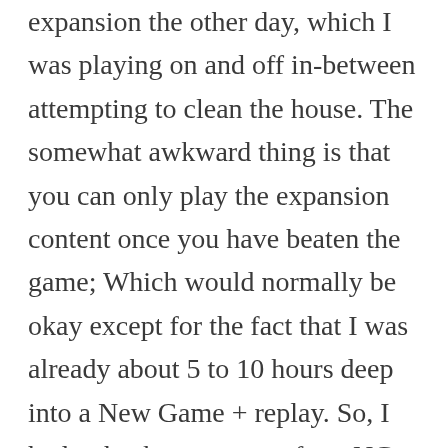expansion the other day, which I was playing on and off in-between attempting to clean the house. The somewhat awkward thing is that you can only play the expansion content once you have beaten the game; Which would normally be okay except for the fact that I was already about 5 to 10 hours deep into a New Game + replay. So, I had to back up a copy of my NG+ save (as a precaution), load an older pre-NG+/post game completion save, then trigger the expansion quest line. I would like to complete NG+, but I don't think I will be able to do so before Fallout 4's release date.